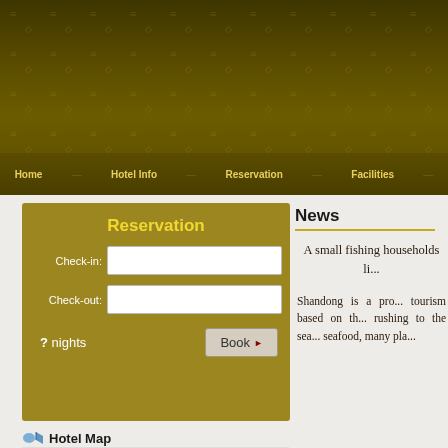Home | Hotel Info | Reservation | Facilities
Reservation
Check-in: [input] Check-out: [input] ? nights [Book]
Hotel Map
[Figure (map): Street map showing hotel location with colored roads and a blue location pin marker]
News
A small fishing households li...
Shandong is a pro... tourism based on the... rushing to the sea... seafood, many pla...